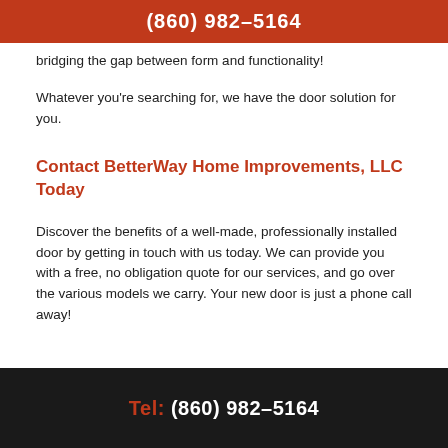(860) 982-5164
bridging the gap between form and functionality!
Whatever you're searching for, we have the door solution for you.
Contact BetterWay Home Improvements, LLC Today
Discover the benefits of a well-made, professionally installed door by getting in touch with us today. We can provide you with a free, no obligation quote for our services, and go over the various models we carry. Your new door is just a phone call away!
Tel: (860) 982-5164